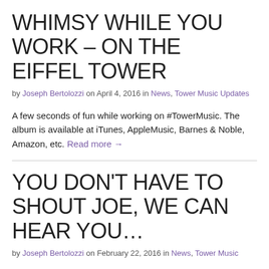WHIMSY WHILE YOU WORK – ON THE EIFFEL TOWER
by Joseph Bertolozzi on April 4, 2016 in News, Tower Music Updates
A few seconds of fun while working on #TowerMusic. The album is available at iTunes, AppleMusic, Barnes & Noble, Amazon, etc. Read more →
YOU DON'T HAVE TO SHOUT JOE, WE CAN HEAR YOU…
by Joseph Bertolozzi on February 22, 2016 in News, Tower Music Updates